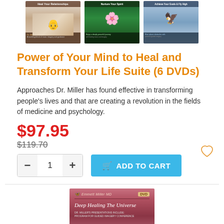[Figure (photo): Three product DVD cover images shown side by side: couple embracing, pink lotus flower, eagle in flight]
Power of Your Mind to Heal and Transform Your Life Suite (6 DVDs)
Approaches Dr. Miller has found effective in transforming people’s lives and that are creating a revolution in the fields of medicine and psychology.
$97.95
$119.70
[Figure (photo): DVD cover for Deep Healing The Universe by Emmett Miller MD]